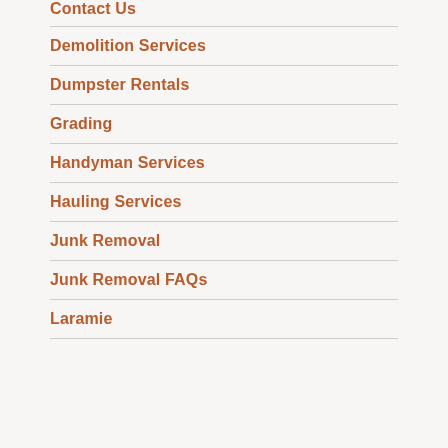Contact Us
Demolition Services
Dumpster Rentals
Grading
Handyman Services
Hauling Services
Junk Removal
Junk Removal FAQs
Laramie